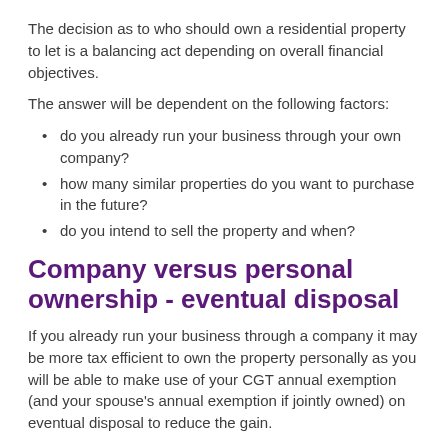The decision as to who should own a residential property to let is a balancing act depending on overall financial objectives.
The answer will be dependent on the following factors:
do you already run your business through your own company?
how many similar properties do you want to purchase in the future?
do you intend to sell the property and when?
Company versus personal ownership - eventual disposal
If you already run your business through a company it may be more tax efficient to own the property personally as you will be able to make use of your CGT annual exemption (and your spouse's annual exemption if jointly owned) on eventual disposal to reduce the gain.